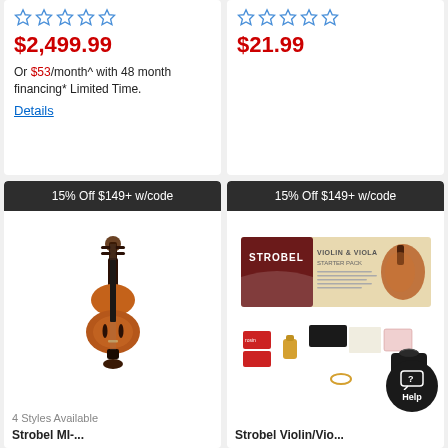$2,499.99
Or $53/month^ with 48 month financing* Limited Time. Details
$21.99
15% Off $149+ w/code
[Figure (photo): A violin product photo showing a full-size violin with brown/amber finish]
4 Styles Available
Strobel MI-...
15% Off $149+ w/code
[Figure (photo): Strobel Violin & Viola Starter Pack product photo showing a box and accessories including rosin, cloth, and a black bag]
Strobel Violin/Vio...